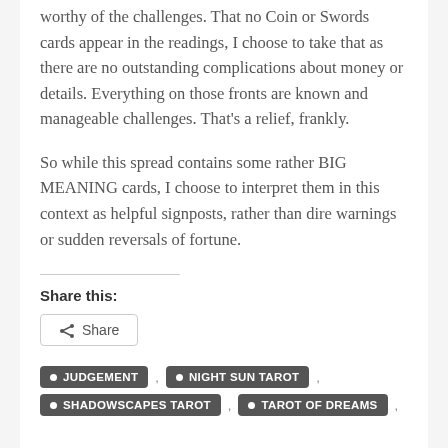worthy of the challenges. That no Coin or Swords cards appear in the readings, I choose to take that as there are no outstanding complications about money or details. Everything on those fronts are known and manageable challenges. That's a relief, frankly.
So while this spread contains some rather BIG MEANING cards, I choose to interpret them in this context as helpful signposts, rather than dire warnings or sudden reversals of fortune.
Share this:
Share
JUDGEMENT
NIGHT SUN TAROT
SHADOWSCAPES TAROT
TAROT OF DREAMS